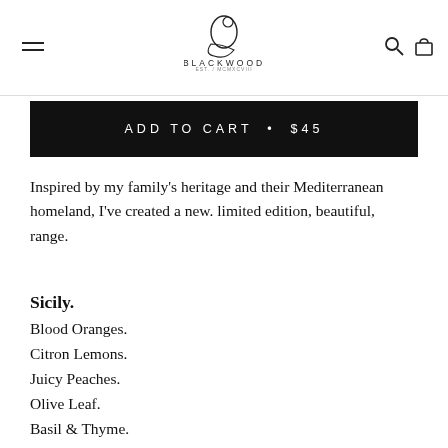BLACKWOOD
ADD TO CART • $45
Inspired by my family's heritage and their Mediterranean homeland, I've created a new. limited edition, beautiful, range.
Sicily.
Blood Oranges.
Citron Lemons.
Juicy Peaches.
Olive Leaf.
Basil & Thyme.
All combined perfectly with a hint of Sicilian love.